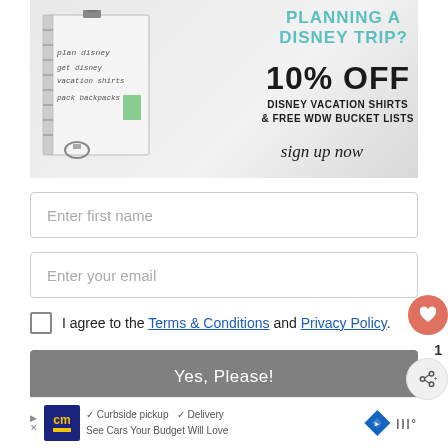[Figure (infographic): Disney trip planning promotional banner showing a notebook with handwritten planning notes on the left and text 'PLANNING A DISNEY TRIP? 10% OFF DISNEY VACATION SHIRTS & FREE WDW BUCKET LISTS sign up now' on the right against a light gray background.]
Enter first name
Enter your email
I agree to the Terms & Conditions and Privacy Policy.
Yes, Please!
[Figure (infographic): Advertisement banner at the bottom showing CM logo, checkmarks for 'Curbside pickup' and 'Delivery', a blue diamond road sign icon, and a brand logo. Text reads 'See Cars Your Budget Will Love'.]